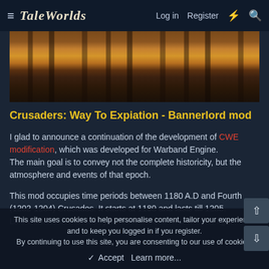TaleWorlds   Log in   Register
[Figure (photo): Banner image showing a dark medieval scene with vertical streaks suggesting castle or dungeon environment with warm orange/brown tones]
Crusaders: Way To Expiation - Bannerlord mod
I glad to announce a continuation of the development of CWE modification, which was developed for Warband Engine. The main goal is to convey not the complete historicity, but the atmosphere and events of that epoch.
This mod occupies time periods between 1180 A.D and Fourth (1202-1204) Crusades. It starts at 1180 and lasts till 1205. Like warriors of that war, you must choose who will you fight
This site uses cookies to help personalise content, tailor your experience and to keep you logged in if you register.
By continuing to use this site, you are consenting to our use of cookies.
✓ Accept   Learn more...